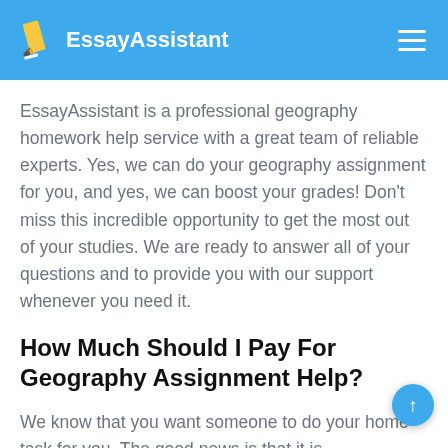EssayAssistant
EssayAssistant is a professional geography homework help service with a great team of reliable experts. Yes, we can do your geography assignment for you, and yes, we can boost your grades! Don't miss this incredible opportunity to get the most out of your studies. We are ready to answer all of your questions and to provide you with our support whenever you need it.
How Much Should I Pay For Geography Assignment Help?
We know that you want someone to do your home task for you. The good news is that it is